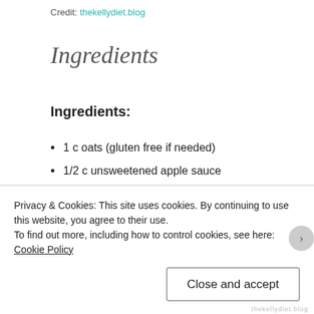Credit: thekellydiet.blog
Ingredients
Ingredients:
1 c oats (gluten free if needed)
1/2 c unsweetened apple sauce
1/4 c coconut flour
1/4 c non-dairy milk (I used Ripple)
1 ripe banana
2 T cocoa powder
Privacy & Cookies: This site uses cookies. By continuing to use this website, you agree to their use.
To find out more, including how to control cookies, see here: Cookie Policy
Close and accept